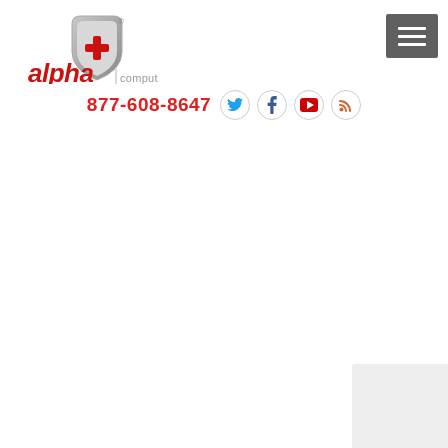[Figure (logo): Alpha Computer Group logo with shield icon containing a red cross, red italic 'alpha' text, and gray 'computer group' text]
[Figure (other): Hamburger menu button (three white horizontal lines on dark gray background)]
877-608-8647
[Figure (other): Social media icons: Twitter (blue bird), Facebook (blue f), YouTube (red play button), RSS (orange feed icon) — all in circular borders]